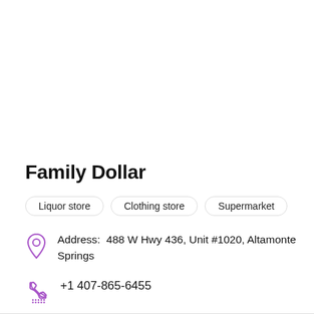Family Dollar
Liquor store
Clothing store
Supermarket
Address: 488 W Hwy 436, Unit #1020, Altamonte Springs
+1 407-865-6455